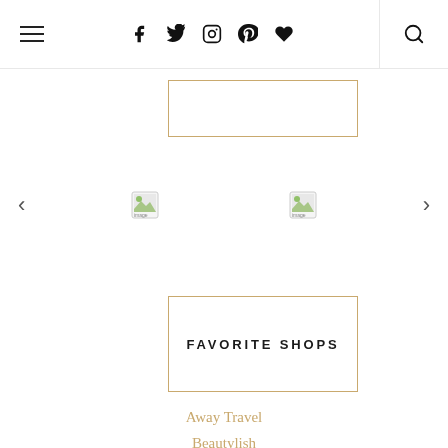Navigation bar with hamburger menu, social icons (f, Twitter, Instagram, Pinterest, heart), and search icon
[Figure (other): Partial bordered box (top portion cut off), gold/tan border]
[Figure (other): Carousel with left/right arrows and two broken image placeholders]
FAVORITE SHOPS
Away Travel
Beautylish
By Terry
Chanel